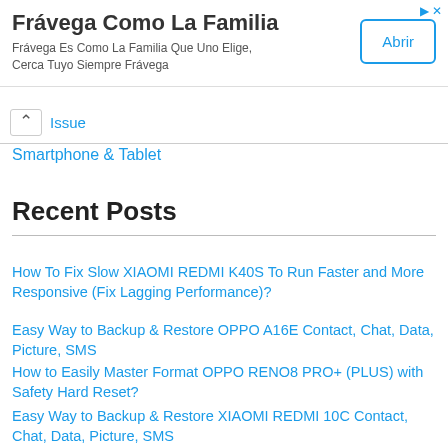[Figure (screenshot): Advertisement banner for Frávega Como La Familia with title, subtitle text, and Abrir button]
Issue
Smartphone & Tablet
Recent Posts
How To Fix Slow XIAOMI REDMI K40S To Run Faster and More Responsive (Fix Lagging Performance)?
Easy Way to Backup & Restore OPPO A16E Contact, Chat, Data, Picture, SMS
How to Easily Master Format OPPO RENO8 PRO+ (PLUS) with Safety Hard Reset?
Easy Way to Backup & Restore XIAOMI REDMI 10C Contact, Chat, Data, Picture, SMS
How To FIX Camera on SAMSUNG GALAXY M33 Problems?